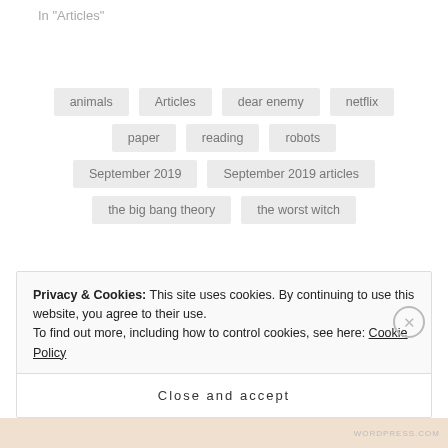In "Articles"
animals
Articles
dear enemy
netflix
paper
reading
robots
September 2019
September 2019 articles
the big bang theory
the worst witch
Privacy & Cookies: This site uses cookies. By continuing to use this website, you agree to their use. To find out more, including how to control cookies, see here: Cookie Policy
Close and accept